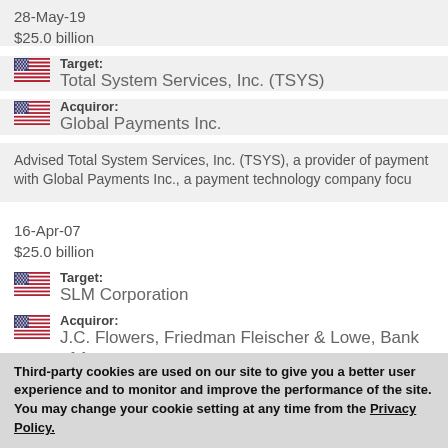28-May-19
$25.0 billion
Target: Total System Services, Inc. (TSYS)
Acquiror: Global Payments Inc.
Advised Total System Services, Inc. (TSYS), a provider of payment with Global Payments Inc., a payment technology company focu
16-Apr-07
$25.0 billion
Target: SLM Corporation
Acquiror: J.C. Flowers, Friedman Fleischer & Lowe, Bank of Ame
Third-party cookies are used on our site to give you a better user experience and to monitor and improve the performance of the site. You may change your cookie setting at any time from the Privacy Policy.